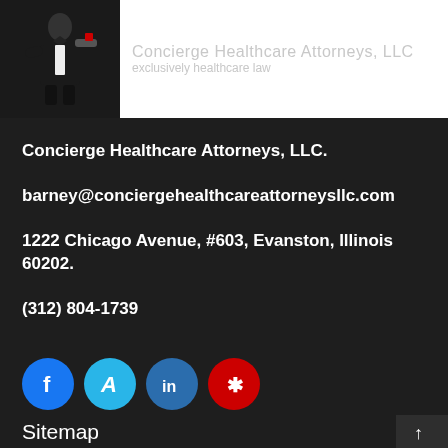[Figure (logo): Concierge Healthcare Attorneys LLC logo with butler figure in tuxedo and company name]
Concierge Healthcare Attorneys, LLC.
barney@conciergehealthcareattorneysllc.com
1222 Chicago Avenue, #603, Evanston, Illinois 60202.
(312) 804-1739
[Figure (illustration): Social media icons: Facebook (blue), Avvo (cyan A), LinkedIn (blue in), Yelp (red)]
Sitemap